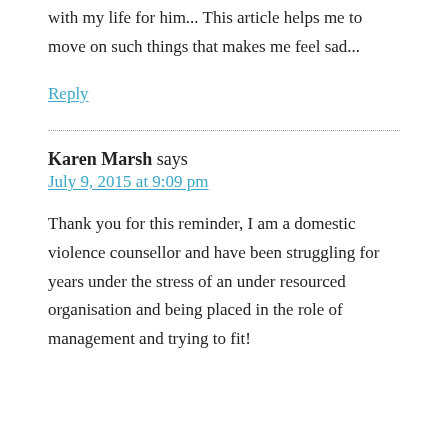with my life for him... This article helps me to move on such things that makes me feel sad...
Reply
Karen Marsh says
July 9, 2015 at 9:09 pm
Thank you for this reminder, I am a domestic violence counsellor and have been struggling for years under the stress of an under resourced organisation and being placed in the role of management and trying to fit!